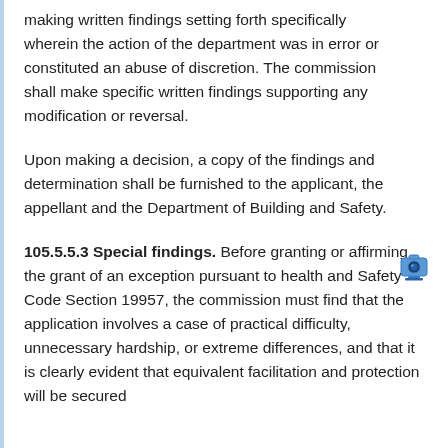making written findings setting forth specifically wherein the action of the department was in error or constituted an abuse of discretion. The commission shall make specific written findings supporting any modification or reversal.
Upon making a decision, a copy of the findings and determination shall be furnished to the applicant, the appellant and the Department of Building and Safety.
105.5.5.3 Special findings. Before granting or affirming the grant of an exception pursuant to health and Safety Code Section 19957, the commission must find that the application involves a case of practical difficulty, unnecessary hardship, or extreme differences, and that it is clearly evident that equivalent facilitation and protection will be secured